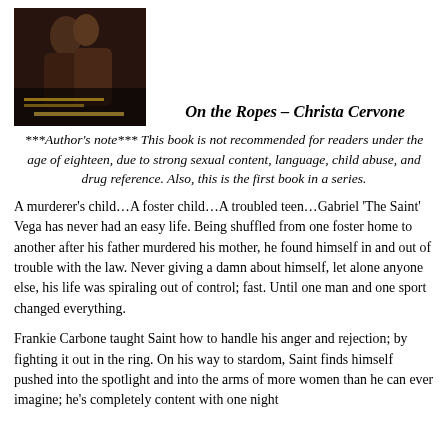[Figure (photo): Book cover image for 'On the Ropes' by Christa Cervone showing two people in an embrace against a dark background]
On the Ropes – Christa Cervone
***Author's note*** This book is not recommended for readers under the age of eighteen, due to strong sexual content, language, child abuse, and drug reference. Also, this is the first book in a series.
A murderer's child…A foster child…A troubled teen…Gabriel 'The Saint' Vega has never had an easy life. Being shuffled from one foster home to another after his father murdered his mother, he found himself in and out of trouble with the law. Never giving a damn about himself, let alone anyone else, his life was spiraling out of control; fast. Until one man and one sport changed everything.
Frankie Carbone taught Saint how to handle his anger and rejection; by fighting it out in the ring. On his way to stardom, Saint finds himself pushed into the spotlight and into the arms of more women than he can ever imagine; he's completely content with one night